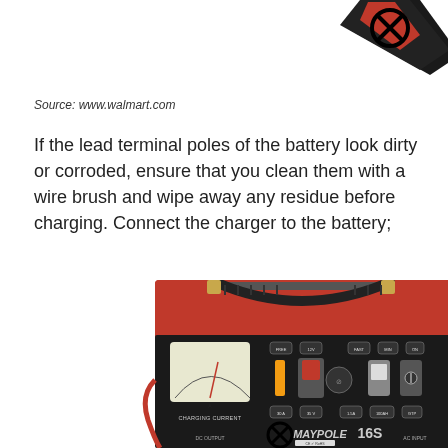[Figure (photo): Partial view of battery clamp/clip with an X (prohibition) symbol overlay, shown at top of page]
Source: www.walmart.com
If the lead terminal poles of the battery look dirty or corroded, ensure that you clean them with a wire brush and wipe away any residue before charging. Connect the charger to the battery;
[Figure (photo): Red and black Maypole 16S battery charger with analog ammeter gauge labeled CHARGING CURRENT, DC OUTPUT, AC INPUT, and an X (prohibition) symbol overlay at the bottom front]